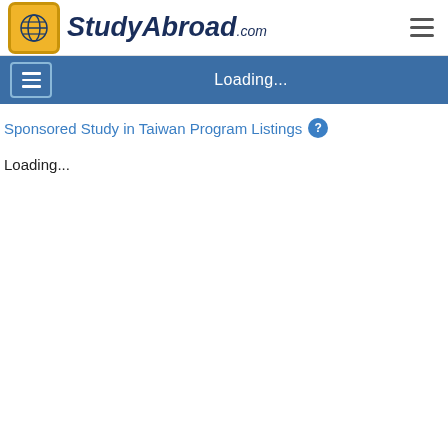[Figure (logo): StudyAbroad.com logo with globe icon in yellow square and stylized text]
Loading...
Sponsored Study in Taiwan Program Listings
Loading...